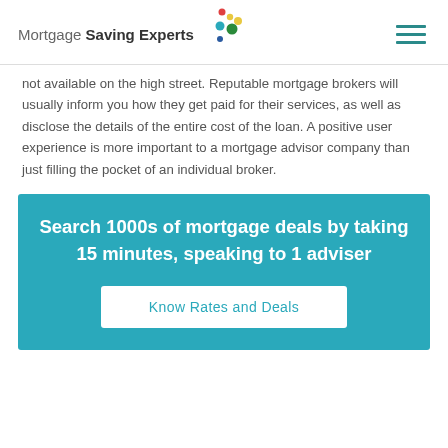Mortgage Saving Experts
not available on the high street. Reputable mortgage brokers will usually inform you how they get paid for their services, as well as disclose the details of the entire cost of the loan. A positive user experience is more important to a mortgage advisor company than just filling the pocket of an individual broker.
Search 1000s of mortgage deals by taking 15 minutes, speaking to 1 adviser
Know Rates and Deals